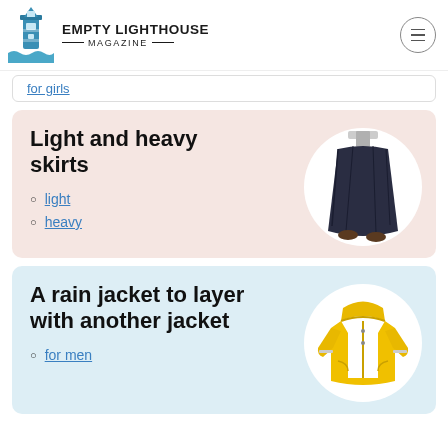EMPTY LIGHTHOUSE MAGAZINE
for girls (link, truncated)
Light and heavy skirts
light
heavy
[Figure (photo): A long dark navy skirt being held up]
A rain jacket to layer with another jacket
for men
[Figure (photo): A yellow children's rain jacket]